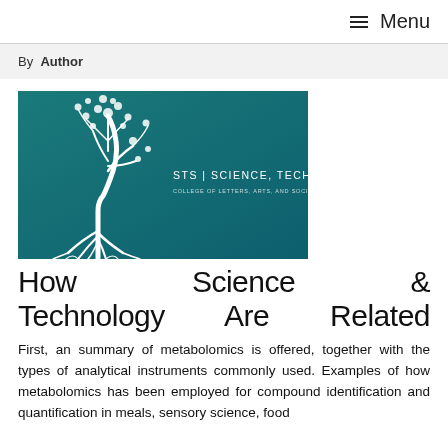≡ Menu
By Author
[Figure (illustration): Banner image with a white tree illustration on a teal/dark cyan background. Text reads: STS | SCIENCE, TECHNOLOGY, AND SOCIETY. College of Letters, Arts, and Social Sciences.]
How Science & Technology Are Related
First, an summary of metabolomics is offered, together with the types of analytical instruments commonly used. Examples of how metabolomics has been employed for compound identification and quantification in meals, sensory science, food